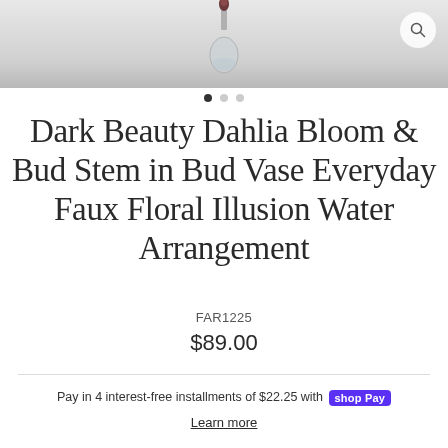[Figure (photo): Product photo of a dark beauty dahlia bloom in a clear bud vase with faux water, shown on a light grey background with a magnifying glass search icon in the top right corner.]
• • •  (carousel dots, first active)
Dark Beauty Dahlia Bloom & Bud Stem in Bud Vase Everyday Faux Floral Illusion Water Arrangement
FAR1225
$89.00
Pay in 4 interest-free installments of $22.25 with Shop Pay
Learn more